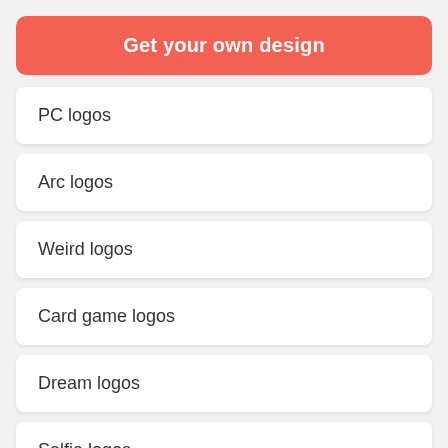Get your own design
PC logos
Arc logos
Weird logos
Card game logos
Dream logos
Selfie logos